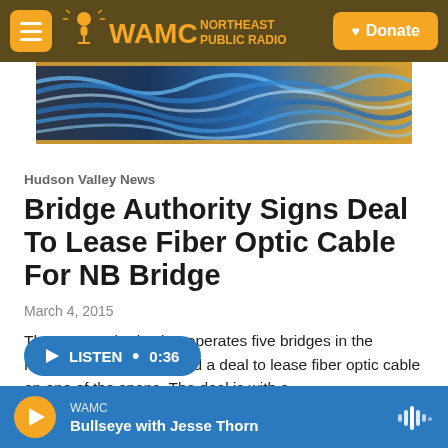WAMC NORTHEAST PUBLIC RADIO | Donate
[Figure (photo): Fiber optic cables, blue and yellow, bundled together]
Hudson Valley News
Bridge Authority Signs Deal To Lease Fiber Optic Cable For NB Bridge
March 4, 2015
The state authority that operates five bridges in the Hudson Valley has signed a deal to lease fiber optic cable on one of the spans. The deal is with a…
LISTEN • 0:36
WAMC | Bullseye with Jesse Thorn